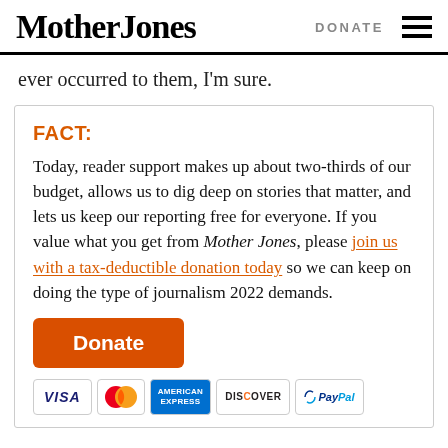Mother Jones | DONATE
ever occurred to them, I'm sure.
FACT:
Today, reader support makes up about two-thirds of our budget, allows us to dig deep on stories that matter, and lets us keep our reporting free for everyone. If you value what you get from Mother Jones, please join us with a tax-deductible donation today so we can keep on doing the type of journalism 2022 demands.
Donate
[Figure (other): Payment method icons: VISA, Mastercard, American Express, Discover, PayPal]